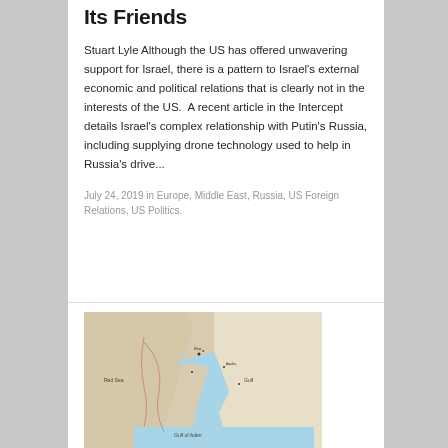Its Friends
Stuart Lyle Although the US has offered unwavering support for Israel, there is a pattern to Israel's external economic and political relations that is clearly not in the interests of the US.  A recent article in the Intercept details Israel's complex relationship with Putin's Russia, including supplying drone technology used to help in Russia's drive...
July 24, 2019 in Europe, Middle East, Russia, US Foreign Relations, US Politics.
[Figure (map): A map showing the Middle East region including the Red Sea, Gulf of Aden, and surrounding countries with maritime boundaries and place names marked.]